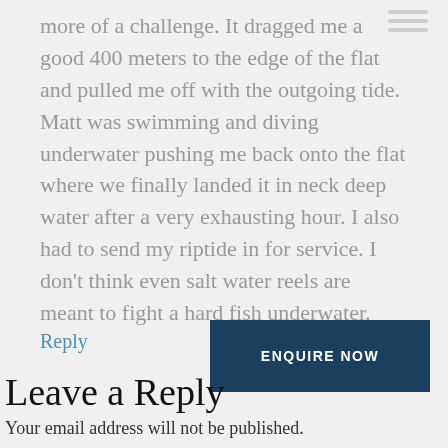more of a challenge. It dragged me a good 400 meters to the edge of the flat and pulled me off with the outgoing tide. Matt was swimming and diving underwater pushing me back onto the flat where we finally landed it in neck deep water after a very exhausting hour. I also had to send my riptide in for service. I don't think even salt water reels are meant to fight a hard fish underwater.
Reply
ENQUIRE NOW
Leave a Reply
Your email address will not be published.